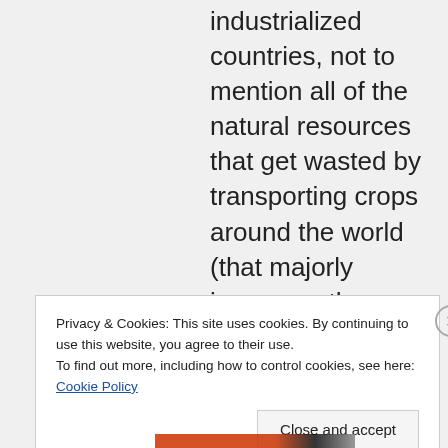industrialized countries, not to mention all of the natural resources that get wasted by transporting crops around the world (that majorly increases the
Privacy & Cookies: This site uses cookies. By continuing to use this website, you agree to their use. To find out more, including how to control cookies, see here: Cookie Policy
Close and accept